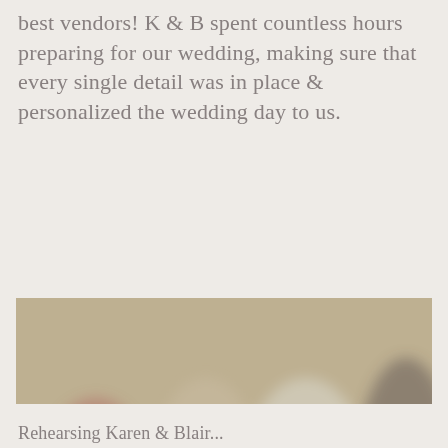best vendors! K & B spent countless hours preparing for our wedding, making sure that every single detail was in place & personalized the wedding day to us.
[Figure (photo): A blurred photograph of people gathered around a table, appearing to be in a consultation or planning meeting. A scroll-to-top button with an upward chevron arrow is visible in the lower right corner of the image.]
Rehearsing Karen & Blair...